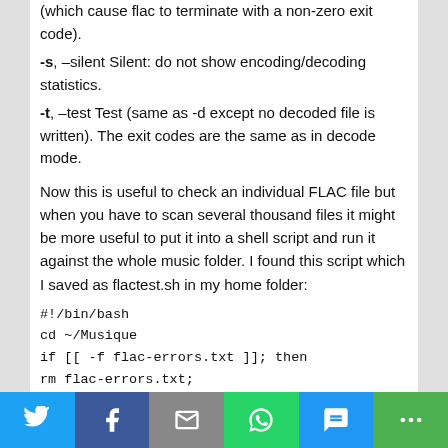(which cause flac to terminate with a non-zero exit code).
-s, –silent Silent: do not show encoding/decoding statistics.
-t, –test Test (same as -d except no decoded file is written). The exit codes are the same as in decode mode.
Now this is useful to check an individual FLAC file but when you have to scan several thousand files it might be more useful to put it into a shell script and run it against the whole music folder. I found this script which I saved as flactest.sh in my home folder:
#!/bin/bash
cd ~/Musique
if [[ -f flac-errors.txt ]]; then
rm flac-errors.txt;
fi
touch flac-errors.txt
shopt -s globstar